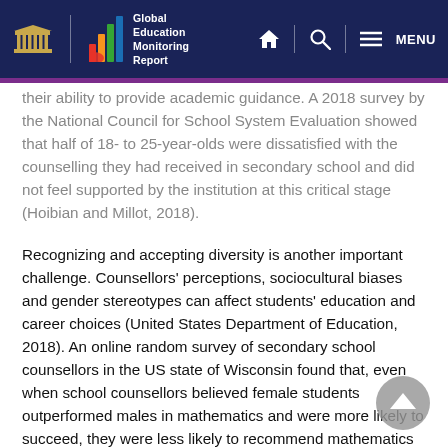Global Education Monitoring Report
their ability to provide academic guidance. A 2018 survey by the National Council for School System Evaluation showed that half of 18- to 25-year-olds were dissatisfied with the counselling they had received in secondary school and did not feel supported by the institution at this critical stage (Hoibian and Millot, 2018).
Recognizing and accepting diversity is another important challenge. Counsellors' perceptions, sociocultural biases and gender stereotypes can affect students' education and career choices (United States Department of Education, 2018). An online random survey of secondary school counsellors in the US state of Wisconsin found that, even when school counsellors believed female students outperformed males in mathematics and were more likely to succeed, they were less likely to recommend mathematics over English to female students